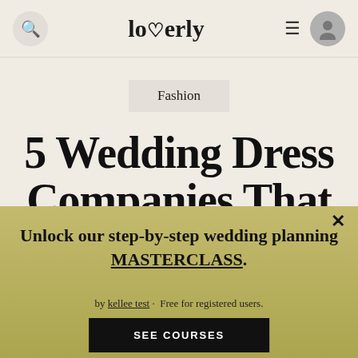loverly
Fashion
5 Wedding Dress Companies That are Changing the Bri…
Unlock our step-by-step wedding planning MASTERCLASS.
Free for registered users.
by kellee test ·
SEE COURSES